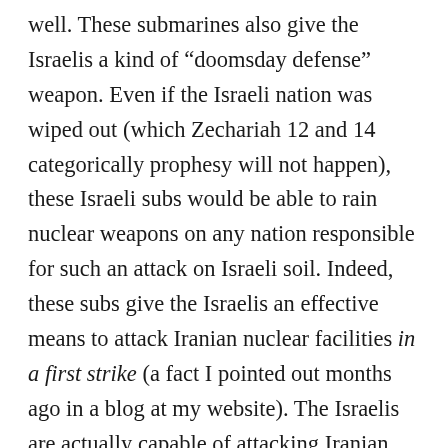well. These submarines also give the Israelis a kind of “doomsday defense” weapon. Even if the Israeli nation was wiped out (which Zechariah 12 and 14 categorically prophesy will not happen), these Israeli subs would be able to rain nuclear weapons on any nation responsible for such an attack on Israeli soil. Indeed, these subs give the Israelis an effective means to attack Iranian nuclear facilities in a first strike (a fact I pointed out months ago in a blog at my website). The Israelis are actually capable of attacking Iranian nuclear sites without sending any warplanes.